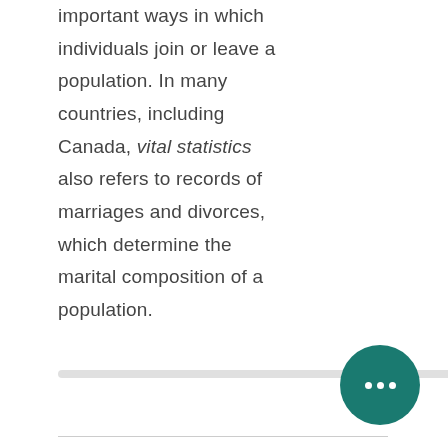important ways in which individuals join or leave a population. In many countries, including Canada, vital statistics also refers to records of marriages and divorces, which determine the marital composition of a population.